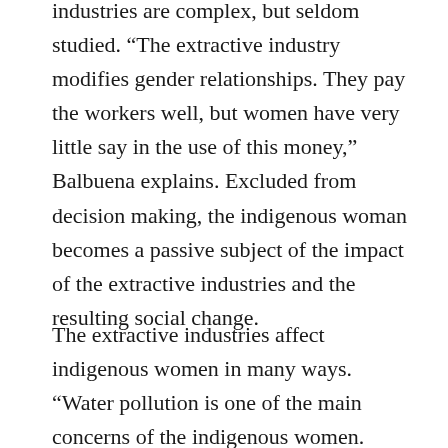industries are complex, but seldom studied. “The extractive industry modifies gender relationships. They pay the workers well, but women have very little say in the use of this money,” Balbuena explains. Excluded from decision making, the indigenous woman becomes a passive subject of the impact of the extractive industries and the resulting social change.
The extractive industries affect indigenous women in many ways. “Water pollution is one of the main concerns of the indigenous women. With the loss of quality of this resource, the ability to guarantee her